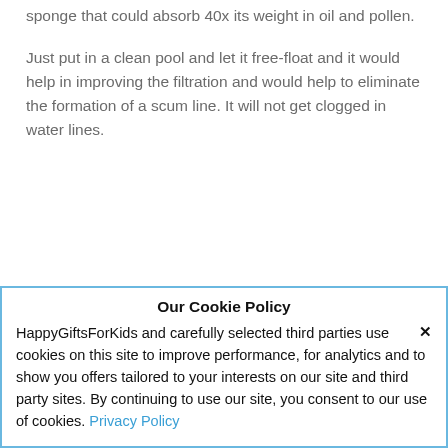sponge that could absorb 40x its weight in oil and pollen.
Just put in a clean pool and let it free-float and it would help in improving the filtration and would help to eliminate the formation of a scum line. It will not get clogged in water lines.
Our Cookie Policy
HappyGiftsForKids and carefully selected third parties use cookies on this site to improve performance, for analytics and to show you offers tailored to your interests on our site and third party sites. By continuing to use our site, you consent to our use of cookies. Privacy Policy